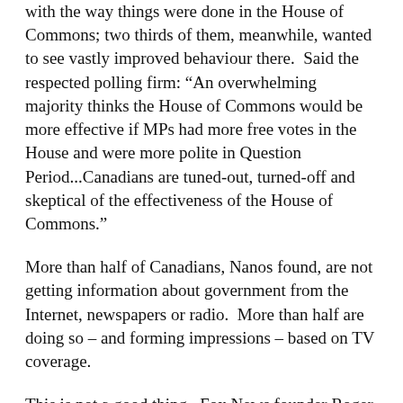with the way things were done in the House of Commons; two thirds of them, meanwhile, wanted to see vastly improved behaviour there.  Said the respected polling firm: “An overwhelming majority thinks the House of Commons would be more effective if MPs had more free votes in the House and were more polite in Question Period...Canadians are tuned-out, turned-off and skeptical of the effectiveness of the House of Commons.”
More than half of Canadians, Nanos found, are not getting information about government from the Internet, newspapers or radio.  More than half are doing so – and forming impressions – based on TV coverage.
This is not a good thing.  Fox News founder Roger Ailes, typically, knows why.  Asked about what works